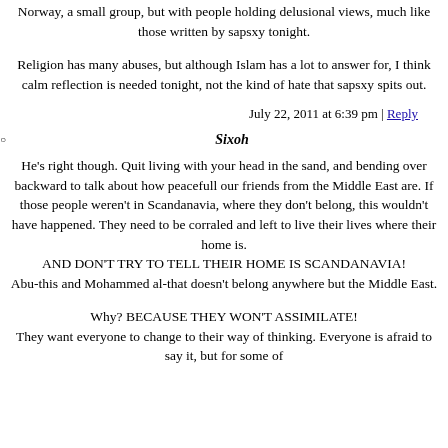Norway, a small group, but with people holding delusional views, much like those written by sapsxy tonight.
Religion has many abuses, but although Islam has a lot to answer for, I think calm reflection is needed tonight, not the kind of hate that sapsxy spits out.
July 22, 2011 at 6:39 pm | Reply
Sixoh
He's right though. Quit living with your head in the sand, and bending over backward to talk about how peacefull our friends from the Middle East are. If those people weren't in Scandanavia, where they don't belong, this wouldn't have happened. They need to be corraled and left to live their lives where their home is. AND DON'T TRY TO TELL THEIR HOME IS SCANDANAVIA! Abu-this and Mohammed al-that doesn't belong anywhere but the Middle East. Why? BECAUSE THEY WON'T ASSIMILATE! They want everyone to change to their way of thinking. Everyone is afraid to say it, but for some of